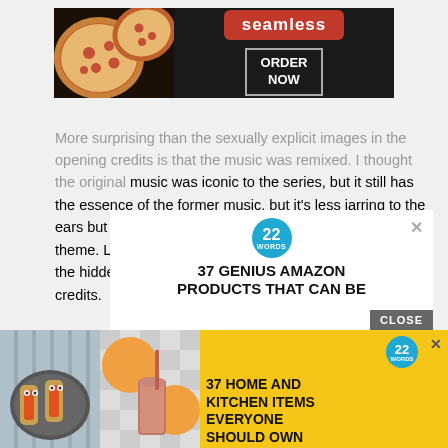[Figure (photo): Seamless food delivery advertisement banner. Left side shows pizza slices on dark background, right side shows 'seamless' red badge logo and 'ORDER NOW' button in a box, all on a dark background.]
More surprising than the sexually explicit images in the opening credits is that the music was remixed. I thought the original music was iconic to the series, but it still has the essence of the former music, but it's less jarring to the ears but more musical & dreamlike to fit the carnival theme. Later on in the season we'll be able to recognize the hidden clues that are always peppered throughout the credits.
[Figure (screenshot): 22 Words advertisement for '37 GENIUS AMAZON PRODUCTS THAT CAN BE...' with a close button. White background with 22 Words circular teal logo at top.]
[Figure (screenshot): Yellow banner advertisement: '37 HOME AND KITCHEN ITEMS EVERYONE SHOULD OWN' with 22 Words logo, photos of food/drinks on left, and close X button.]